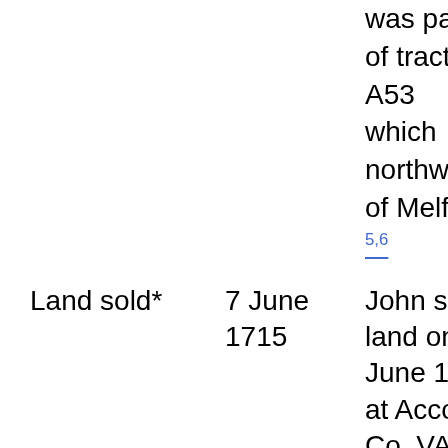was part of tract A53 which northwest of Melfa.. 5,6
Land sold*
7 June 1715
John sold land on 7 June 1715 at Accomack Co, VA. John White & Obedience Johnson of Northampton County sold 150 acres for 2,250 lbs tobacco and William Lurton and Thomas Lurton of Accomack County, planters, lying in Accomack County in the woods near White Marsh being part of 600 acres granted by patent to Richard Holland who conveyed it to John Scamell and Henry Lurton & the said Scamell conveyed half of the 600 acres to